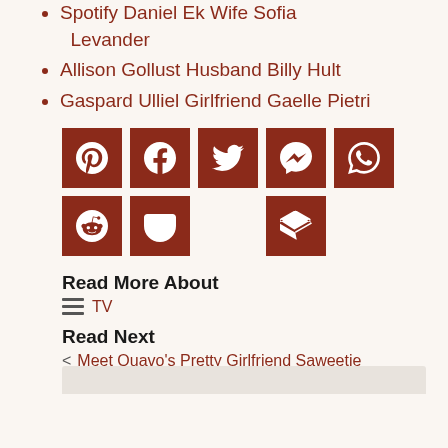Spotify Daniel Ek Wife Sofia Levander
Allison Gollust Husband Billy Hult
Gaspard Ulliel Girlfriend Gaelle Pietri
[Figure (other): Social sharing icons: Pinterest, Facebook, Twitter, Messenger, WhatsApp, Reddit, Pocket, Buffer]
Read More About
TV
Read Next
Meet Quavo's Pretty Girlfriend Saweetie
Madison Prewett/ The Bachelor 24 Contestant